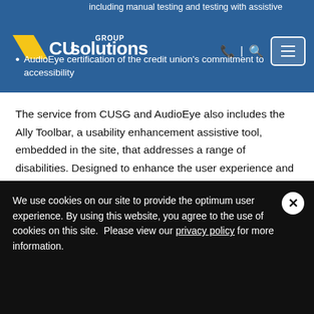including manual testing and testing with assistive
[Figure (logo): CU Solutions Group logo — yellow double-chevron marks with white text 'CUsolutions GROUP' on blue background]
AudioEye certification of the credit union's commitment to accessibility
The service from CUSG and AudioEye also includes the Ally Toolbar, a usability enhancement assistive tool, embedded in the site, that addresses a range of disabilities. Designed to enhance the user experience and allow for customization, the Ally Toolbar has considerations for users with a wide range of disabilities and has considerations including a dyslexic font, adjustments to color contrast, font size and
We use cookies on our site to provide the optimum user experience. By using this website, you agree to the use of cookies on this site.  Please view our privacy policy for more information.